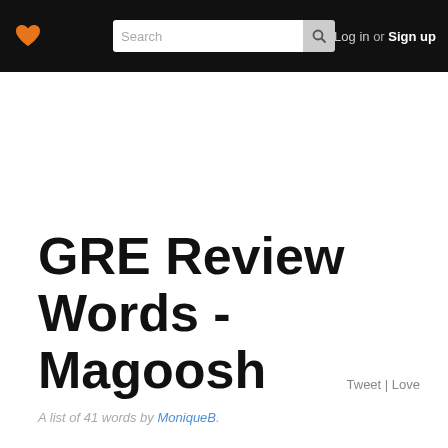Search | Log in or Sign up
GRE Review Words - Magoosh
Tweet | Love
A list of 41 words by MoniqueB.